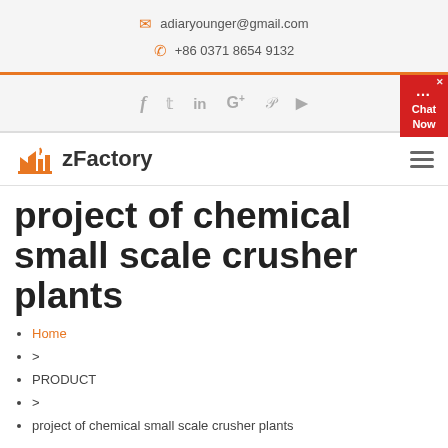adiaryounger@gmail.com  +86 0371 8654 9132
[Figure (logo): Social media icons bar: f, twitter, in, G+, pinterest, youtube]
[Figure (logo): zFactory logo with orange factory icon and Chat Now button]
project of chemical small scale crusher plants
Home
>
PRODUCT
>
project of chemical small scale crusher plants
project of chemical small scale